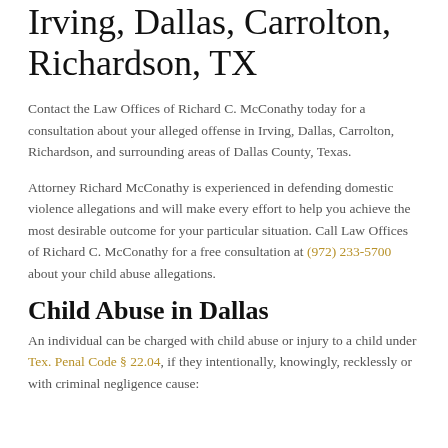Irving, Dallas, Carrolton, Richardson, TX
Contact the Law Offices of Richard C. McConathy today for a consultation about your alleged offense in Irving, Dallas, Carrolton, Richardson, and surrounding areas of Dallas County, Texas.
Attorney Richard McConathy is experienced in defending domestic violence allegations and will make every effort to help you achieve the most desirable outcome for your particular situation. Call Law Offices of Richard C. McConathy for a free consultation at (972) 233-5700 about your child abuse allegations.
Child Abuse in Dallas
An individual can be charged with child abuse or injury to a child under Tex. Penal Code § 22.04, if they intentionally, knowingly, recklessly or with criminal negligence cause: